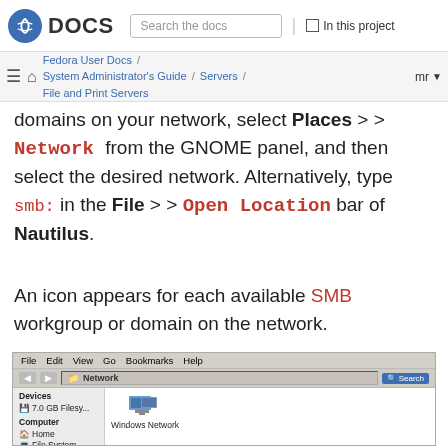Fedora DOCS | Search the docs | In this project
Fedora User Docs / System Administrator's Guide / Servers / File and Print Servers
domains on your network, select Places > > Network from the GNOME panel, and then select the desired network. Alternatively, type smb: in the File > > Open Location bar of Nautilus.
An icon appears for each available SMB workgroup or domain on the network.
[Figure (screenshot): Nautilus file manager window showing Network view with Windows Network icon. Menu bar shows File Edit View Go Bookmarks Help. Sidebar shows Devices section with 7.0 GB Filesy... and Computer section with Home, File System, Documents entries.]